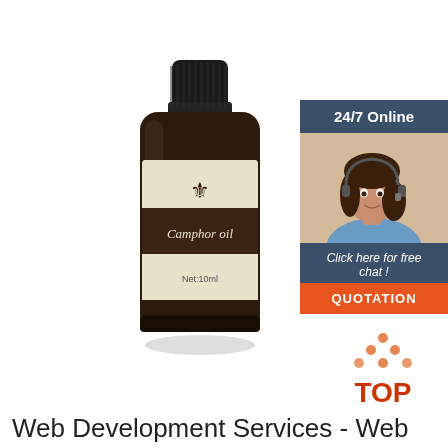[Figure (photo): A small amber glass bottle of Camphor oil with a black cap and a cream/beige label featuring a fleur-de-lis symbol and text reading 'Camphor oil' and 'Net: 10ml']
[Figure (infographic): Customer support chat widget showing '24/7 Online' header in dark blue, a photo of a smiling woman with headset, 'Click here for free chat!' text in dark blue, and an orange 'QUOTATION' button]
[Figure (logo): A 'TOP' logo with dots arranged in a triangle/house shape above red text 'TOP' in orange/red]
Web Development Services - Web